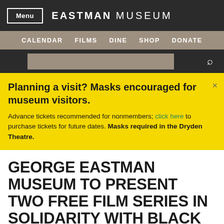Menu | EASTMAN MUSEUM
CALENDAR   FILMS   DINE   SHOP   DONATE
Planning a visit? Masks encouraged for museum visitors. Advance tickets recommended for nonmembers; click here to purchase tickets for future dates. Masks required in the Dryden Theatre.
GEORGE EASTMAN MUSEUM TO PRESENT TWO FREE FILM SERIES IN SOLIDARITY WITH BLACK AMERICANS AND ASIAN/PACIFIC ISLANDER AMERICANS